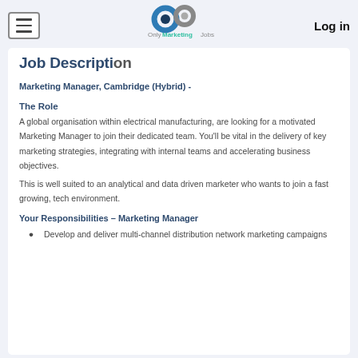Log in
Job Description
Marketing Manager, Cambridge (Hybrid) -
The Role
A global organisation within electrical manufacturing, are looking for a motivated Marketing Manager to join their dedicated team. You'll be vital in the delivery of key marketing strategies, integrating with internal teams and accelerating business objectives.
This is well suited to an analytical and data driven marketer who wants to join a fast growing, tech environment.
Your Responsibilities – Marketing Manager
Develop and deliver multi-channel distribution network marketing campaigns